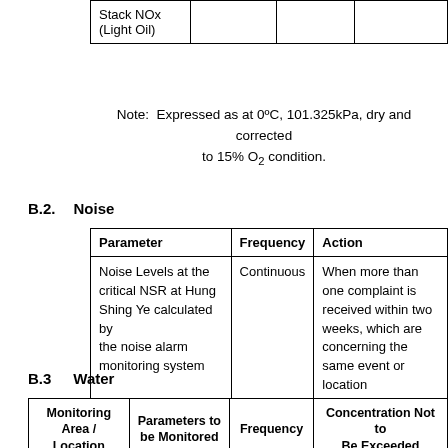| Stack NOx (Light Oil) |  |  |  |
| --- | --- | --- | --- |
| Stack NOx
(Light Oil) |  |  |  |
Note: Expressed as at 0ºC, 101.325kPa, dry and corrected to 15% O2 condition.
B.2.    Noise
| Parameter | Frequency | Action |
| --- | --- | --- |
| Noise Levels at the critical NSR at Hung Shing Ye calculated by the noise alarm monitoring system | Continuous | When more than one complaint is received within two weeks, which are concerning the same event or location |
B.3    Water
| Monitoring Area / Location | Parameters to be Monitored | Frequency | Concentration Not to Be Exceeded |
| --- | --- | --- | --- |